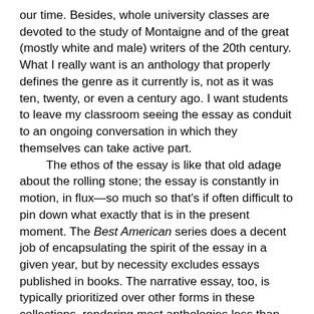our time. Besides, whole university classes are devoted to the study of Montaigne and of the great (mostly white and male) writers of the 20th century. What I really want is an anthology that properly defines the genre as it currently is, not as it was ten, twenty, or even a century ago. I want students to leave my classroom seeing the essay as conduit to an ongoing conversation in which they themselves can take active part.
	The ethos of the essay is like that old adage about the rolling stone; the essay is constantly in motion, in flux—so much so that's if often difficult to pin down what exactly that is in the present moment. The Best American series does a decent job of encapsulating the spirit of the essay in a given year, but by necessity excludes essays published in books. The narrative essay, too, is typically prioritized over other forms in these collections, rendering most anthologies less than ideal for exposing a class to the range of what the essay can do.
	Don't get me wrong—I love my well-worn 1995 edition of Lopate's Art of the Personal Essay, which is itself proof that an anthology is simultaneously emblematic of a time and also timeless. I value my copies of Oates, D'Agata, and yes,